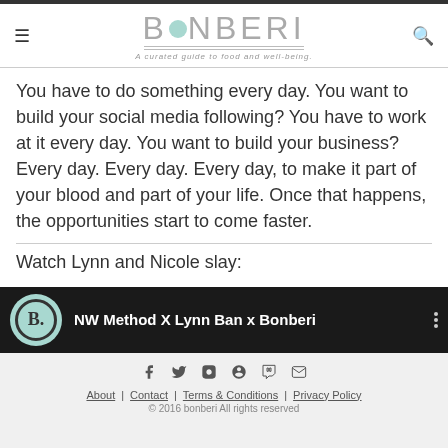BONBERI — A curated guide to food and well-being.
You have to do something every day. You want to build your social media following? You have to work at it every day. You want to build your business? Every day. Every day. Every day, to make it part of your blood and part of your life. Once that happens, the opportunities start to come faster.
Watch Lynn and Nicole slay:
[Figure (screenshot): Video thumbnail showing Bonberi logo and title 'NW Method X Lynn Ban x Bonberi' on dark background]
About | Contact | Terms & Conditions | Privacy Policy
© 2016 bonberi All rights reserved